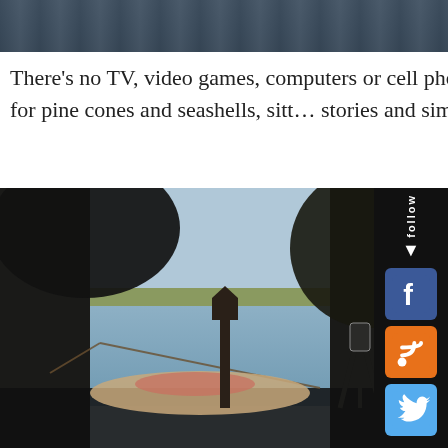[Figure (photo): Dark water/lake scene at top of page, partial crop]
There's no TV, video games, computers or cell phones. InsteadÂ… few priceless days of searching for pine cones and seashells, sitt… stories and simply enjoying nature and each other.
[Figure (photo): Outdoor lakeside scene with trees in silhouette, hammock, person relaxing, water and distant shore visible in background]
[Figure (infographic): Social media follow widget with Facebook, RSS, and Twitter icons on black background]